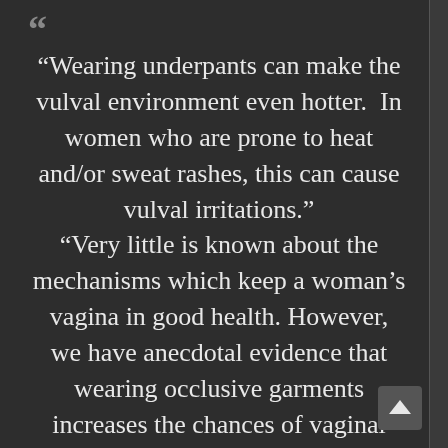“Wearing underpants can make the vulval environment even hotter. In women who are prone to heat and/or sweat rashes, this can cause vulval irritations.” “Very little is known about the mechanisms which keep a woman’s vagina in good health. However, we have anecdotal evidence that wearing occlusive garments increases the chances of vaginal problems such as thrush. This is why we all need